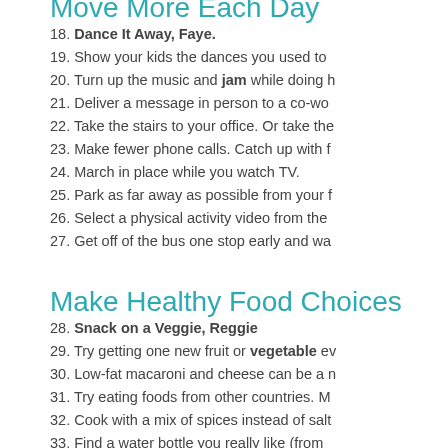Move More Each Day
18. Dance It Away, Faye.
19. Show your kids the dances you used to
20. Turn up the music and jam while doing h
21. Deliver a message in person to a co-wo
22. Take the stairs to your office. Or take the
23. Make fewer phone calls. Catch up with f
24. March in place while you watch TV.
25. Park as far away as possible from your f
26. Select a physical activity video from the
27. Get off of the bus one stop early and wa
Make Healthy Food Choices
28. Snack on a Veggie, Reggie
29. Try getting one new fruit or vegetable ev
30. Low-fat macaroni and cheese can be a n
31. Try eating foods from other countries. M
32. Cook with a mix of spices instead of salt
33. Find a water bottle you really like (from